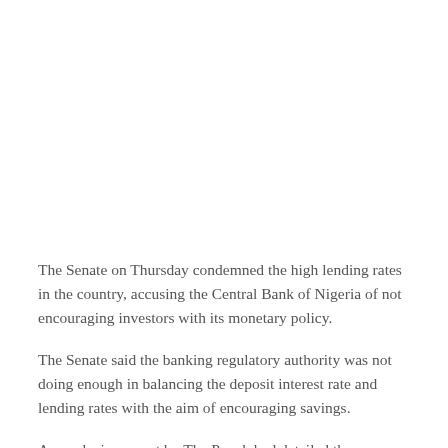The Senate on Thursday condemned the high lending rates in the country, accusing the Central Bank of Nigeria of not encouraging investors with its monetary policy.
The Senate said the banking regulatory authority was not doing enough in balancing the deposit interest rate and lending rates with the aim of encouraging savings.
An exclusive report by The Punch had detailed the disparity between lending and interest rates that had forced banking